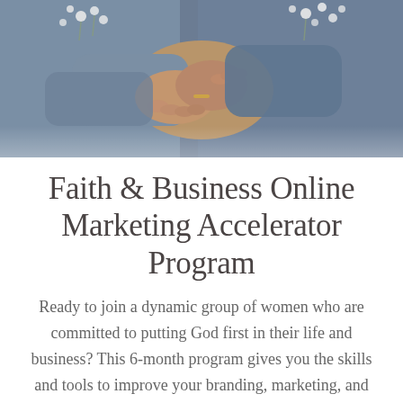[Figure (photo): Close-up photo of two people in denim jackets holding hands with small white flowers (baby's breath) in the background]
Faith & Business Online Marketing Accelerator Program
Ready to join a dynamic group of women who are committed to putting God first in their life and business? This 6-month program gives you the skills and tools to improve your branding, marketing, and sales, all while staying in